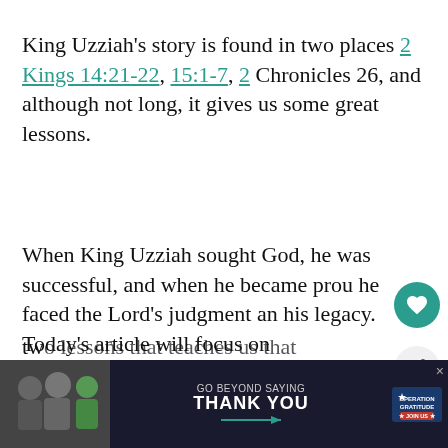King Uzziah's story is found in two places 2 Kings 14:21-22, 15:1-7, 2 Chronicles 26, and although not long, it gives us some great lessons.
When King Uzziah sought God, he was successful, and when he became proud he faced the Lord's judgment and it tarnished his legacy. Today's article will focus on two lessons that his story teaches us that co... the
[Figure (other): Advertisement banner: GO BEYOND SAYING THANK YOU - Operation Gratitude JOIN US]